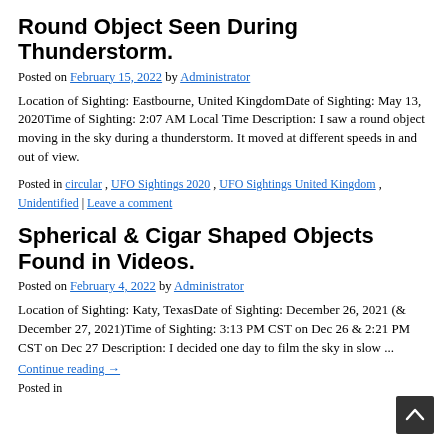Round Object Seen During Thunderstorm.
Posted on February 15, 2022 by Administrator
Location of Sighting: Eastbourne, United KingdomDate of Sighting: May 13, 2020Time of Sighting: 2:07 AM Local Time Description: I saw a round object moving in the sky during a thunderstorm. It moved at different speeds in and out of view.
Posted in circular , UFO Sightings 2020 , UFO Sightings United Kingdom , Unidentified | Leave a comment
Spherical & Cigar Shaped Objects Found in Videos.
Posted on February 4, 2022 by Administrator
Location of Sighting: Katy, TexasDate of Sighting: December 26, 2021 (& December 27, 2021)Time of Sighting: 3:13 PM CST on Dec 26 & 2:21 PM CST on Dec 27 Description: I decided one day to film the sky in slow ...
Continue reading →
Posted in